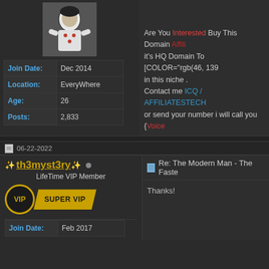[Figure (photo): User avatar showing a figure in black and white costume with red accents]
| Join Date: | Dec 2014 |
| Location: | EveryWhere |
| Age: | 26 |
| Posts: | 2,833 |
Are You Interested Buy This Domain Affili it's HQ Domain To [COLOR="rgb(46, 139... in this niche . Contact me ICQ / AFFILIATESTECH or send your number i will call you {Voice
06-22-2022
[Figure (other): VIP and SUPER VIP badge for user th3myst3ry]
th3myst3ry
LifeTime VIP Member
Re: The Modern Man - The Faste
Thanks!
| Join Date: | Feb 2017 |